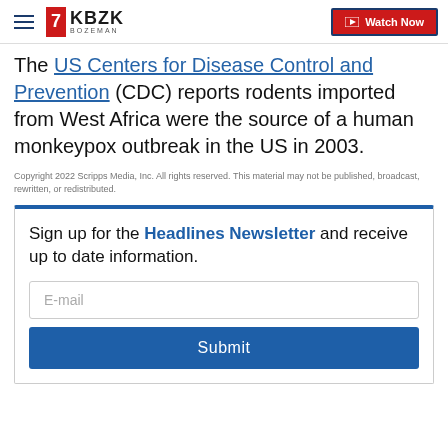KBZK Bozeman | Watch Now
The US Centers for Disease Control and Prevention (CDC) reports rodents imported from West Africa were the source of a human monkeypox outbreak in the US in 2003.
Copyright 2022 Scripps Media, Inc. All rights reserved. This material may not be published, broadcast, rewritten, or redistributed.
Sign up for the Headlines Newsletter and receive up to date information.